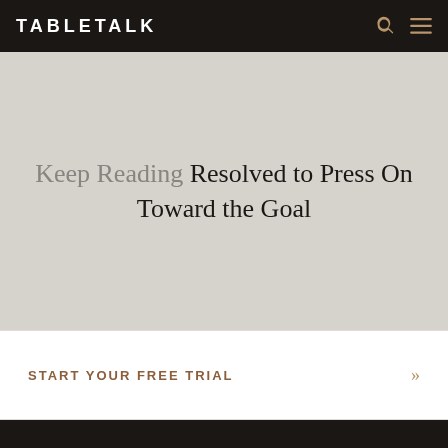TABLETALK
Keep Reading Resolved to Press On Toward the Goal
Start Your Free Trial »
An Outreach of Ligonier © 2022